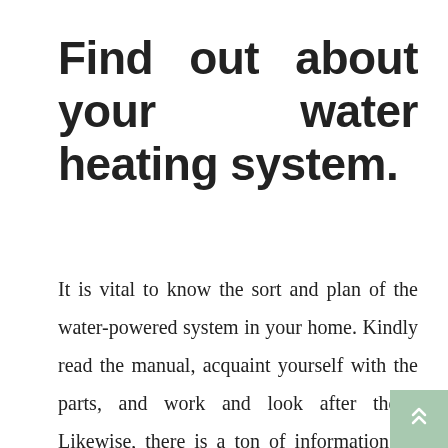Find out about your water heating system.
It is vital to know the sort and plan of the water-powered system in your home. Kindly read the manual, acquaint yourself with the parts, and work and look after them. Likewise, there is a ton of information on the Internet and recordings that can be utilized by specialists and flow clients of the water heating system. They will give you a superior outline of your item, and it will be